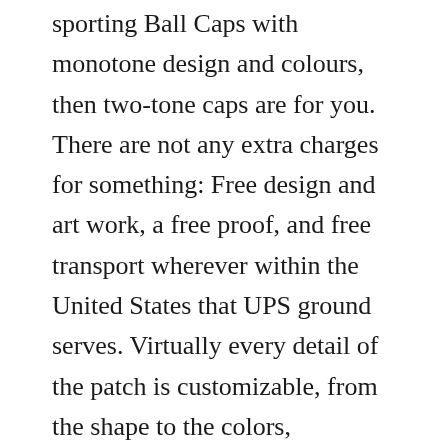sporting Ball Caps with monotone design and colours, then two-tone caps are for you. There are not any extra charges for something: Free design and art work, a free proof, and free transport wherever within the United States that UPS ground serves. Virtually every detail of the patch is customizable, from the shape to the colors, measurement, and form, making it an important choice to explore your creativity. As all the time, we promise a hundred% buyer satisfaction on all of our pins. Almost all manufacturing is currently achieved in China, specifically in and round Kunshan , a satellite metropolis within the better Suzhou area that's administratively on the county-degree in southeast Jiangsu, China, simply outdoors Shanghai Inexpensive labor in China has made non-Chinese language